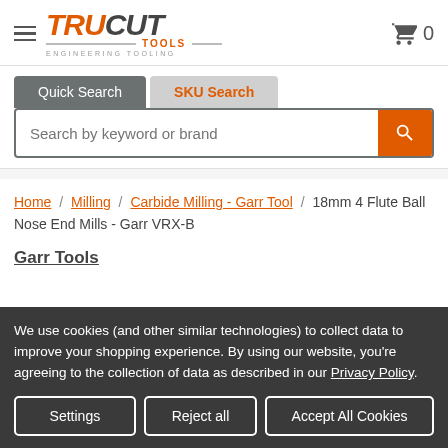[Figure (logo): TruCut Tools logo with orange TRU and gray CUT text, Engineering Tooling subtext]
[Figure (screenshot): Search bar with Quick Search and SKU Search tabs and search input with orange button]
Home / Milling / Carbide Milling - Garr Tool / 18mm 4 Flute Ball Nose End Mills - Garr VRX-B
Garr Tools
We use cookies (and other similar technologies) to collect data to improve your shopping experience. By using our website, you're agreeing to the collection of data as described in our Privacy Policy.